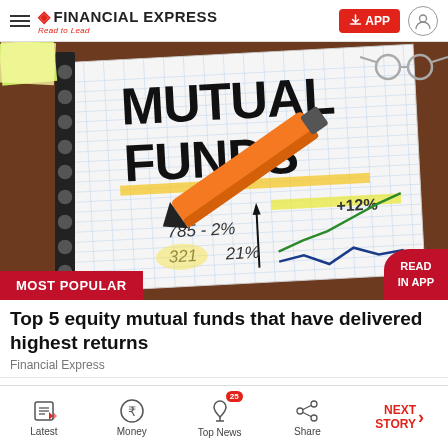FINANCIAL EXPRESS — Read to Lead
[Figure (photo): Notebook with 'MUTUAL FUNDS' written in large hand-lettered text, with an orange highlighter marker, yellow highlighted lines, and a hand-drawn graph showing +12% with green and blue lines. Eyeglasses visible in top right corner on a dark wooden desk.]
MOST POPULAR
Top 5 equity mutual funds that have delivered highest returns
Financial Express
Latest | Money | Top News | Share | NEXT STORY